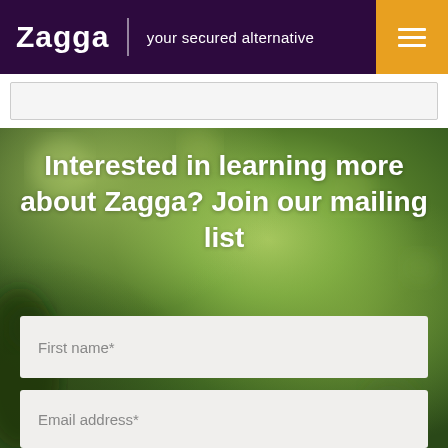Zagga | your secured alternative
Interested in learning more about Zagga? Join our mailing list
First name*
Email address*